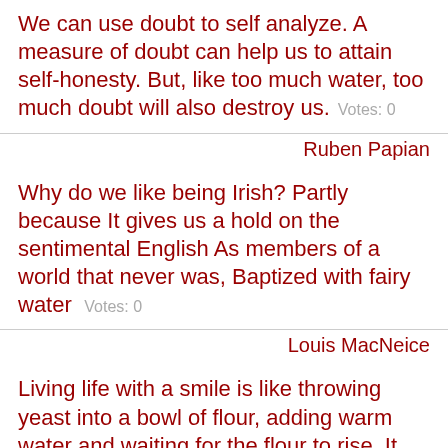We can use doubt to self analyze. A measure of doubt can help us to attain self-honesty. But, like too much water, too much doubt will also destroy us. Votes: 0
Ruben Papian
Why do we like being Irish? Partly because It gives us a hold on the sentimental English As members of a world that never was, Baptized with fairy water Votes: 0
Louis MacNeice
Living life with a smile is like throwing yeast into a bowl of flour, adding warm water and waiting for the flour to rise. It multiplies may times over. Votes: 0